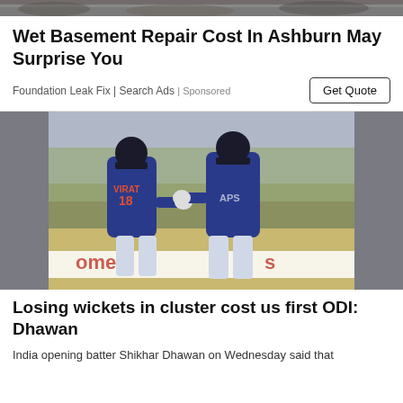[Figure (photo): Top partial image showing rocks/ground, cropped]
Wet Basement Repair Cost In Ashburn May Surprise You
Foundation Leak Fix | Search Ads | Sponsored
[Figure (photo): Two Indian cricket players in blue jerseys shaking hands/fist-bumping on a cricket field. One player has 'VIRAT 18' on their jersey. They are wearing helmets and batting pads.]
Losing wickets in cluster cost us first ODI: Dhawan
India opening batter Shikhar Dhawan on Wednesday said that